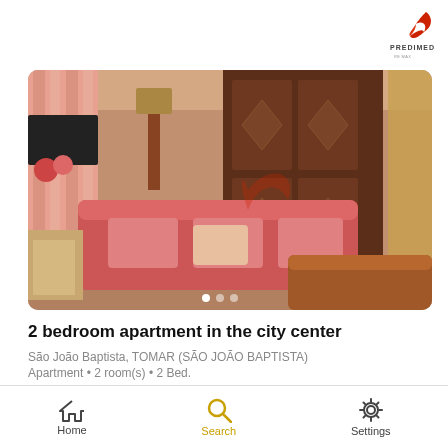[Figure (logo): PREDIMED real estate agency logo with red bird/leaf icon and text PREDIMED below]
[Figure (photo): Interior photo of a living room with pink/red sofas, a large dark wooden wardrobe, pink curtains on the left, and a brown leather sofa in the foreground. A watermark of the PREDIMED logo is overlaid. Navigation dots at the bottom indicate a photo carousel.]
2 bedroom apartment in the city center
São João Baptista, TOMAR (SÃO JOÃO BAPTISTA)
Apartment • 2 room(s) • 2 Bed.
$96,779
Home   Search   Settings